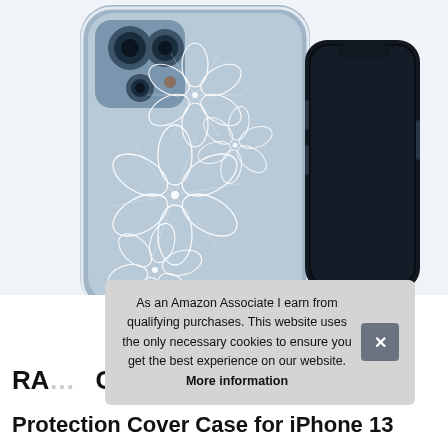[Figure (photo): Product photo of a clear iPhone case with white floral (hydrangea) line art design. Two iPhones shown – one displaying the back of the clear floral case, one showing the front screen of an iPhone 12 Pro. Background is light blue-grey.]
As an Amazon Associate I earn from qualifying purchases. This website uses the only necessary cookies to ensure you get the best experience on our website. More information
RANCASE Clear Protection Cover Case for iPhone 13